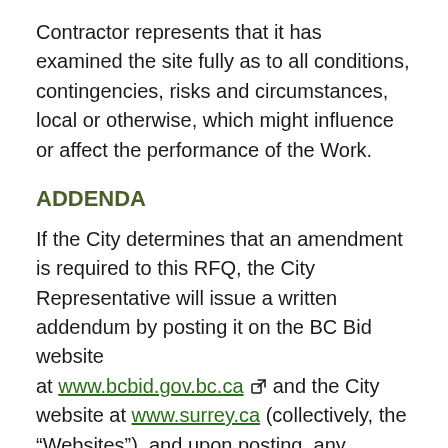Contractor represents that it has examined the site fully as to all conditions, contingencies, risks and circumstances, local or otherwise, which might influence or affect the performance of the Work.
ADDENDA
If the City determines that an amendment is required to this RFQ, the City Representative will issue a written addendum by posting it on the BC Bid website at www.bcbid.gov.bc.ca and the City website at www.surrey.ca (collectively, the “Websites”), and upon posting, any addenda will form a part of this RFQ. It is the responsibility of Contractors to check the Websites for addenda. The only way this RFQ may be added to, or amended in any